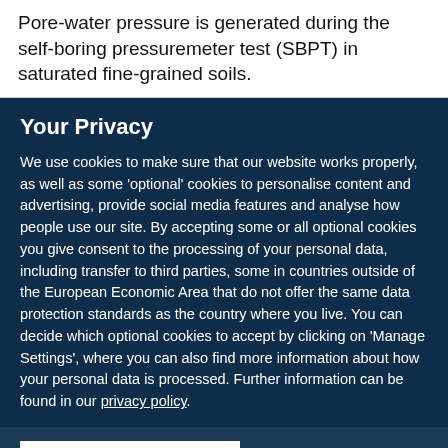Pore-water pressure is generated during the self-boring pressuremeter test (SBPT) in saturated fine-grained soils.
Your Privacy
We use cookies to make sure that our website works properly, as well as some 'optional' cookies to personalise content and advertising, provide social media features and analyse how people use our site. By accepting some or all optional cookies you give consent to the processing of your personal data, including transfer to third parties, some in countries outside of the European Economic Area that do not offer the same data protection standards as the country where you live. You can decide which optional cookies to accept by clicking on 'Manage Settings', where you can also find more information about how your personal data is processed. Further information can be found in our privacy policy.
Accept all cookies
Manage preferences